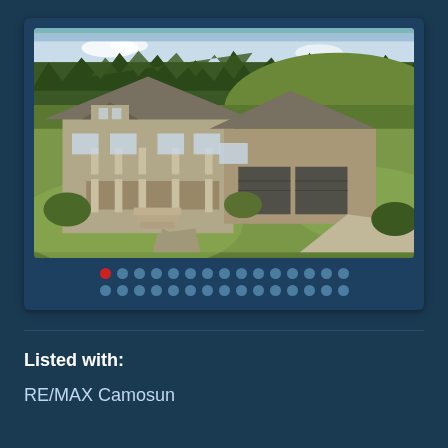[Figure (photo): Aerial/elevated exterior photo of a large craftsman-style home with multiple gabled roofs, front porch with stairs, three-car garage wing, surrounded by green lawn and trees, with a curved driveway]
Listed with:
RE/MAX Camosun